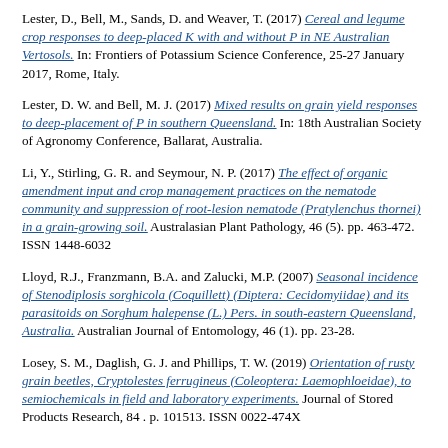Lester, D., Bell, M., Sands, D. and Weaver, T. (2017) Cereal and legume crop responses to deep-placed K with and without P in NE Australian Vertosols. In: Frontiers of Potassium Science Conference, 25-27 January 2017, Rome, Italy.
Lester, D. W. and Bell, M. J. (2017) Mixed results on grain yield responses to deep-placement of P in southern Queensland. In: 18th Australian Society of Agronomy Conference, Ballarat, Australia.
Li, Y., Stirling, G. R. and Seymour, N. P. (2017) The effect of organic amendment input and crop management practices on the nematode community and suppression of root-lesion nematode (Pratylenchus thornei) in a grain-growing soil. Australasian Plant Pathology, 46 (5). pp. 463-472. ISSN 1448-6032
Lloyd, R.J., Franzmann, B.A. and Zalucki, M.P. (2007) Seasonal incidence of Stenodiplosis sorghicola (Coquillett) (Diptera: Cecidomyiidae) and its parasitoids on Sorghum halepense (L.) Pers. in south-eastern Queensland, Australia. Australian Journal of Entomology, 46 (1). pp. 23-28.
Losey, S. M., Daglish, G. J. and Phillips, T. W. (2019) Orientation of rusty grain beetles, Cryptolestes ferrugineus (Coleoptera: Laemophloeidae), to semiochemicals in field and laboratory experiments. Journal of Stored Products Research, 84 . p. 101513. ISSN 0022-474X